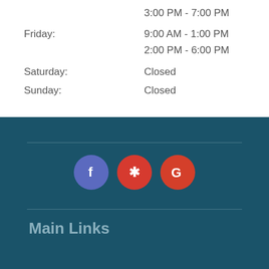3:00 PM - 7:00 PM
Friday: 9:00 AM - 1:00 PM
2:00 PM - 6:00 PM
Saturday: Closed
Sunday: Closed
[Figure (infographic): Social media icons: Facebook (blue/purple circle with 'f'), Yelp (red circle with asterisk/star), Google (red circle with 'G')]
Main Links